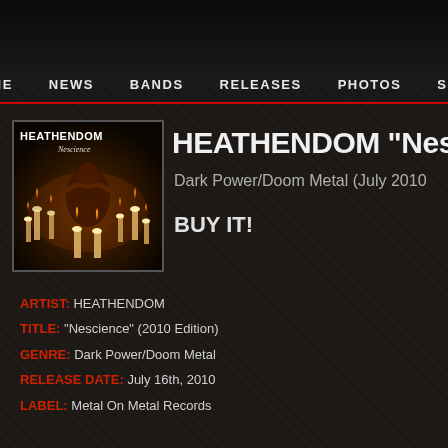HOME  NEWS  BANDS  RELEASES  PHOTOS  SHOP
[Figure (photo): Album cover for Heathendom Nescience showing a figure surrounded by candles in dark atmospheric artwork]
HEATHENDOM "Nesc
Dark Power/Doom Metal (July 2010
BUY IT!
ARTIST: HEATHENDOM
TITLE: "Nescience" (2010 Edition)
GENRE: Dark Power/Doom Metal
RELEASE DATE: July 16th, 2010
LABEL: Metal On Metal Records